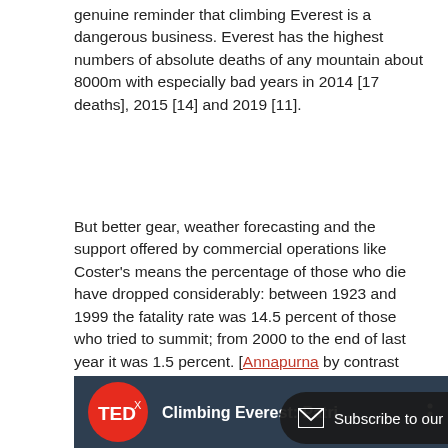genuine reminder that climbing Everest is a dangerous business. Everest has the highest numbers of absolute deaths of any mountain about 8000m with especially bad years in 2014 [17 deaths], 2015 [14] and 2019 [11].
But better gear, weather forecasting and the support offered by commercial operations like Coster's means the percentage of those who die have dropped considerably: between 1923 and 1999 the fatality rate was 14.5 percent of those who tried to summit; from 2000 to the end of last year it was 1.5 percent. [Annapurna by contrast takes the lives of a third of those who try, the highest rate amongst the 'eight-thousanders'.]
[Figure (screenshot): TEDx video thumbnail showing 'Climbing Everest: Patri...' title with TEDx logo on a dark background, with a Subscribe to our newsletter overlay banner and a scroll-up arrow button in the bottom right corner.]